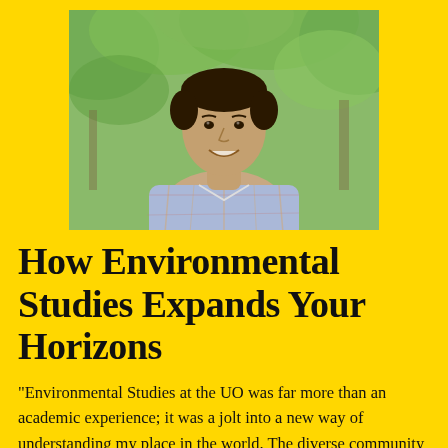[Figure (photo): Portrait photo of a young man with short dark hair, smiling, wearing a blue plaid shirt, outdoors with green foliage in the background.]
How Environmental Studies Expands Your Horizons
"Environmental Studies at the UO was far more than an academic experience; it was a jolt into a new way of understanding my place in the world. The diverse community of talented, value-aligned people